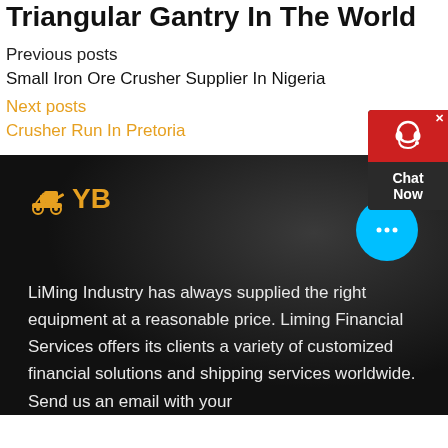Triangular Gantry In The World
Previous posts
Small Iron Ore Crusher Supplier In Nigeria
Next posts
Crusher Run In Pretoria
[Figure (other): Chat widget with red top and dark bottom showing 'Chat Now' text]
[Figure (logo): YB logo with excavator icon in orange/gold on dark background]
[Figure (other): Cyan chat bubble button with ellipsis icon]
LiMing Industry has always supplied the right equipment at a reasonable price. Liming Financial Services offers its clients a variety of customized financial solutions and shipping services worldwide. Send us an email with your